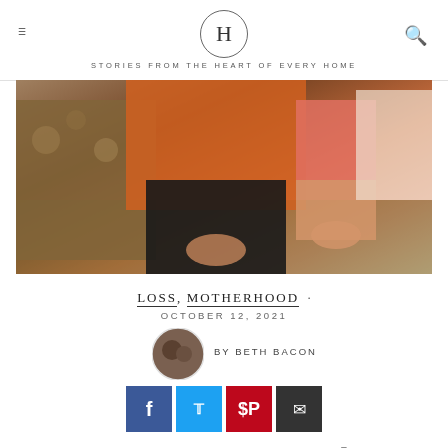H — STORIES FROM THE HEART OF EVERY HOME
[Figure (photo): Close-up photo of a family sitting together outdoors, showing torsos and laps, wearing orange, coral, and dark clothing, with greenery in the background.]
LOSS, MOTHERHOOD ·
OCTOBER 12, 2021
BY BETH BACON
[Figure (photo): Circular author avatar photo of Beth Bacon]
Having a Big Family Doesn't Erase the